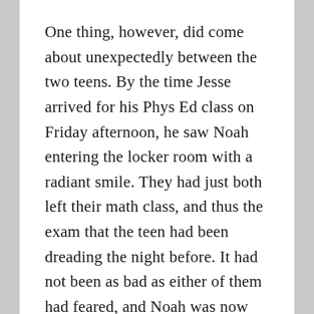One thing, however, did come about unexpectedly between the two teens. By the time Jesse arrived for his Phys Ed class on Friday afternoon, he saw Noah entering the locker room with a radiant smile. They had just both left their math class, and thus the exam that the teen had been dreading the night before. It had not been as bad as either of them had feared, and Noah was now reaping the rewards at having finally understood the questions better than ever before. The night before, he and Jesse had returned and moved over onto the bed